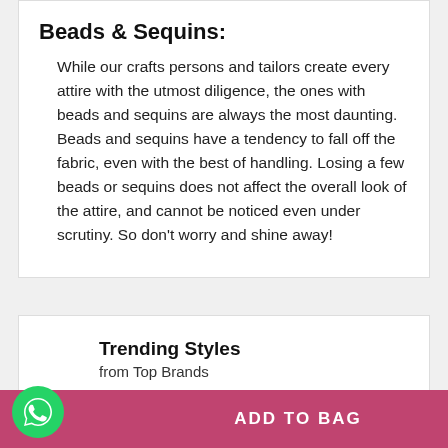Beads & Sequins:
While our crafts persons and tailors create every attire with the utmost diligence, the ones with beads and sequins are always the most daunting. Beads and sequins have a tendency to fall off the fabric, even with the best of handling. Losing a few beads or sequins does not affect the overall look of the attire, and cannot be noticed even under scrutiny. So don't worry and shine away!
Trending Styles
from Top Brands
Best Prices
ADD TO BAG